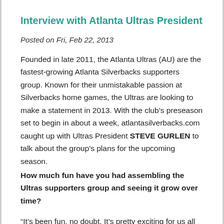Interview with Atlanta Ultras President
Posted on Fri, Feb 22, 2013
Founded in late 2011, the Atlanta Ultras (AU) are the fastest-growing Atlanta Silverbacks supporters group. Known for their unmistakable passion at Silverbacks home games, the Ultras are looking to make a statement in 2013. With the club's preseason set to begin in about a week, atlantasilverbacks.com caught up with Ultras President STEVE GURLEN to talk about the group's plans for the upcoming season.
How much fun have you had assembling the Ultras supporters group and seeing it grow over time?
“It’s been fun, no doubt. It’s pretty exciting for us all to see it grow and become more